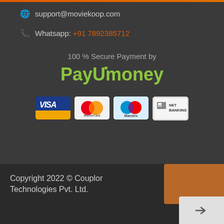Bengaluru - 560001
support@moviekoop.com
Whatsapp: +91 7892385712
100 % Secure Payment by
[Figure (logo): PayUmoney payment gateway logo in green text]
[Figure (other): Payment card logos: VISA, MasterCard, Maestro, Net Banking]
Copyright 2022 © Couplor Technologies Pvt. Ltd.